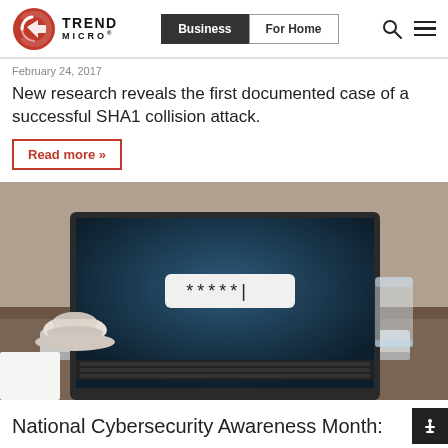Trend Micro — Business | For Home
February 24, 2017
New research reveals the first documented case of a successful SHA1 collision attack.
Read more »
[Figure (photo): Laptop on a desk showing a password field with asterisks on screen, with a coffee cup and glass of water in the background]
National Cybersecurity Awareness Month: